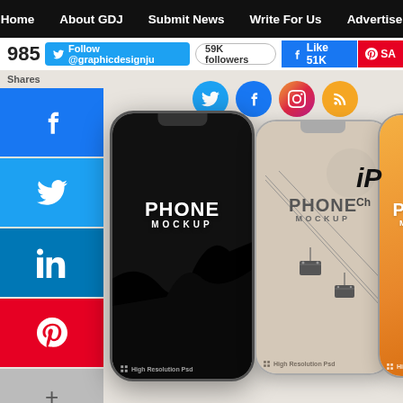Home | About GDJ | Submit News | Write For Us | Advertise
985 Shares | Follow @graphicdesignju | 59K followers | Like 51K | SA
[Figure (screenshot): Website page showing social media share buttons on the left (Facebook, Twitter, LinkedIn, Pinterest), three iPhone mockups in the center labeled PHONE MOCKUP with different wallpapers (dark silhouette, beige with cable car, orange with jellyfish), and social media icons (Twitter, Facebook, Instagram, RSS) in the top right.]